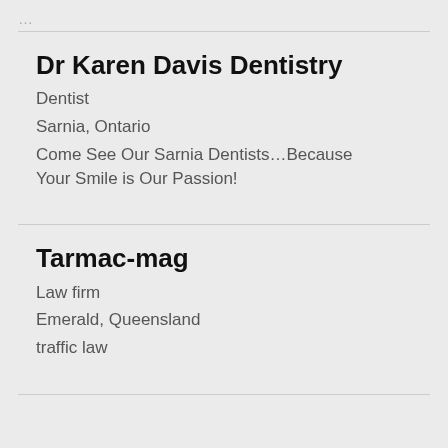Dr Karen Davis Dentistry
Dentist
Sarnia, Ontario
Come See Our Sarnia Dentists…Because Your Smile is Our Passion!
Tarmac-mag
Law firm
Emerald, Queensland
traffic law